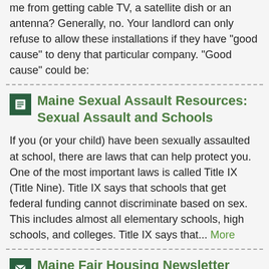me from getting cable TV, a satellite dish or an antenna? Generally, no. Your landlord can only refuse to allow these installations if they have "good cause" to deny that particular company. "Good cause" could be:
Maine Sexual Assault Resources: Sexual Assault and Schools
If you (or your child) have been sexually assaulted at school, there are laws that can help protect you. One of the most important laws is called Title IX (Title Nine). Title IX says that schools that get federal funding cannot discriminate based on sex. This includes almost all elementary schools, high schools, and colleges. Title IX says that... More
Maine Fair Housing Newsletter
The Fair Housing Newsletter is a publication of Pine Tree Legal Assistance, through the Fair Housing Initiative Program, Maine. It covers important fair